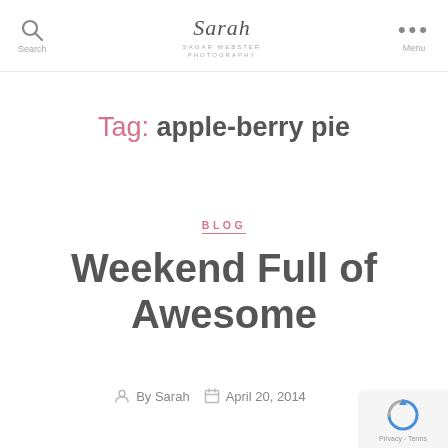Search | Sarah [logo] | Menu
Tag: apple-berry pie
BLOG
Weekend Full of Awesome
By Sarah   April 20, 2014